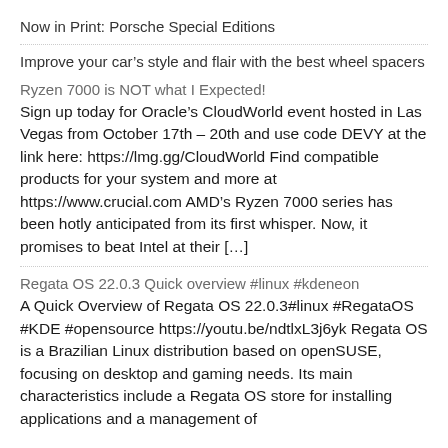Now in Print: Porsche Special Editions
Improve your car's style and flair with the best wheel spacers
Ryzen 7000 is NOT what I Expected!
Sign up today for Oracle's CloudWorld event hosted in Las Vegas from October 17th – 20th and use code DEVY at the link here: https://lmg.gg/CloudWorld Find compatible products for your system and more at https://www.crucial.com AMD's Ryzen 7000 series has been hotly anticipated from its first whisper. Now, it promises to beat Intel at their [...]
Regata OS 22.0.3 Quick overview #linux #kdeneon
A Quick Overview of Regata OS 22.0.3#linux #RegataOS #KDE #opensource https://youtu.be/ndtlxL3j6yk Regata OS is a Brazilian Linux distribution based on openSUSE, focusing on desktop and gaming needs. Its main characteristics include a Regata OS store for installing applications and a management of